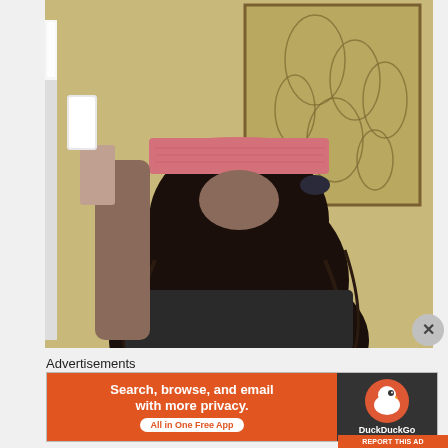[Figure (photo): Person viewed from behind wearing a pink/mauve headband or sleep mask pushed up on their head, with long dark hair, reflected or standing in front of a decorative wall art piece with botanical/floral motifs on a yellow-green wall, holding a phone]
Advertisements
[Figure (infographic): DuckDuckGo advertisement banner. Left orange section reads: 'Search, browse, and email with more privacy. All in One Free App'. Right dark section shows DuckDuckGo logo (duck icon in orange circle) and 'DuckDuckGo' text.]